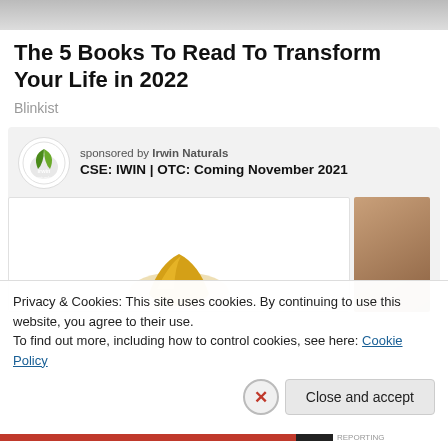[Figure (photo): Partial photo of a person visible at the top of the page, cropped]
The 5 Books To Read To Transform Your Life in 2022
Blinkist
[Figure (infographic): Sponsored ad box for Irwin Naturals with logo, text 'sponsored by Irwin Naturals', 'CSE: IWIN | OTC: Coming November 2021', and product images including an oil drop and a wooden surface]
Privacy & Cookies: This site uses cookies. By continuing to use this website, you agree to their use.
To find out more, including how to control cookies, see here: Cookie Policy